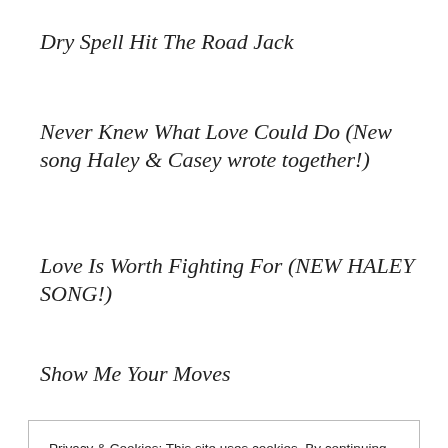Dry Spell Hit The Road Jack
Never Knew What Love Could Do (New song Haley & Casey wrote together!)
Love Is Worth Fighting For (NEW HALEY SONG!)
Show Me Your Moves
Privacy & Cookies: This site uses cookies. By continuing to use this website, you agree to their use.
To find out more, including how to control cookies, see here: Cookie Policy
Close and accept